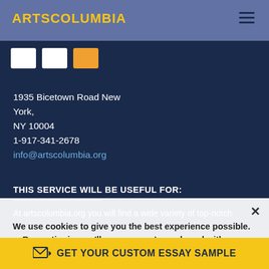ARTSCOLUMBIA
[Figure (logo): ArtsColumbia logo with AC watermark and yellow text on blue-grey header bar]
1935 Bicetown Road New York,
NY 10004
1-917-341-2678
info@artscolumbia.org
THIS SERVICE WILL BE USEFUL FOR:
At artscolumbia.org you will find a wide variety of top-notch essay and term essay samples on any possible topics absolutely for free. Want to add some juice to your work? No problem! Here you will also find the best quotations, synonyms and word definitions to make your research
We use cookies to give you the best experience possible. By continuing we'll assume you're on board with our cookie policy
GET YOUR CUSTOM ESSAY SAMPLE